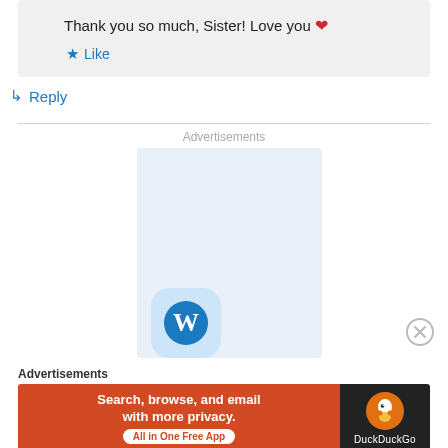Thank you so much, Sister! Love you ❤
★ Like
↳ Reply
Advertisements
[Figure (screenshot): Advertisement block with WordPress logo icon on light blue background]
Advertisements
[Figure (screenshot): DuckDuckGo ad banner: Search, browse, and email with more privacy. All in One Free App. DuckDuckGo logo on dark background.]